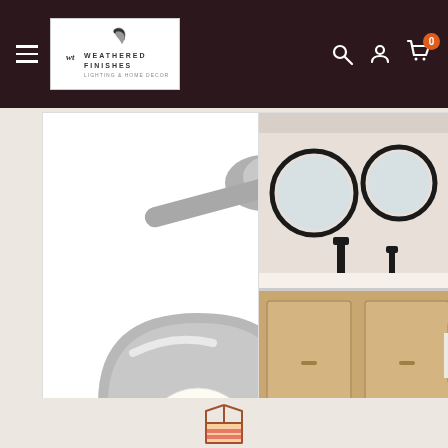Weathered Finishes — navigation bar with logo, search, account, cart (0 items)
[Figure (photo): Brooklyn 1-Light Double Shade Long-Arm Sconce product photo showing a silver/brushed nickel wall sconce with a globe bulb and half-dome shade]
Brooklyn 1-Light Double Shade Long-Arm Sconce
$570
In stock
[Figure (photo): Brooklyn 3-Light Double Shade Sconce product photo showing a bathroom vanity scene with round mirrors and a wooden cabinet]
Brooklyn 3-Light Double Shade Sconce
$834
In stock
[Figure (illustration): Partial box/package icon at the bottom of the page]